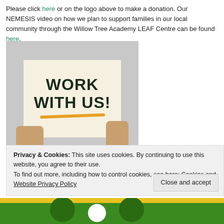Please click here or on the logo above to make a donation. Our NEMESIS video on how we plan to support families in our local community through the Willow Tree Academy LEAF Centre can be found here.
[Figure (photo): Person holding a sign that reads 'WORK WITH US!' with a yellow underline, on a grey background]
Privacy & Cookies: This site uses cookies. By continuing to use this website, you agree to their use.
To find out more, including how to control cookies, see here: Cookies and Website Privacy Policy
[Figure (illustration): Bottom banner with yellow and green colors showing circular logo elements]